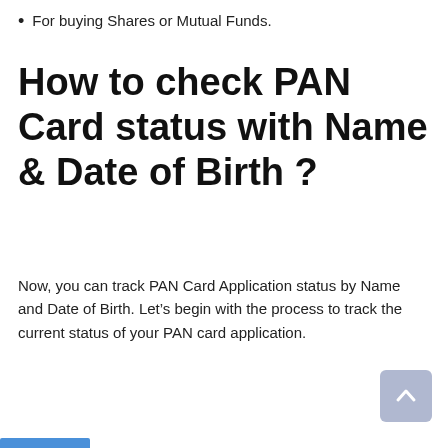For buying Shares or Mutual Funds.
How to check PAN Card status with Name & Date of Birth ?
Now, you can track PAN Card Application status by Name and Date of Birth. Let’s begin with the process to track the current status of your PAN card application.